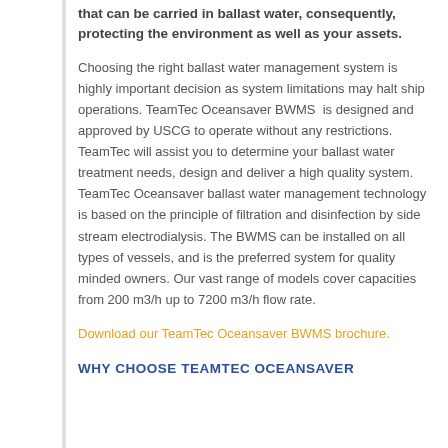that can be carried in ballast water, consequently, protecting the environment as well as your assets.
Choosing the right ballast water management system is highly important decision as system limitations may halt ship operations. TeamTec Oceansaver BWMS is designed and approved by USCG to operate without any restrictions. TeamTec will assist you to determine your ballast water treatment needs, design and deliver a high quality system. TeamTec Oceansaver ballast water management technology is based on the principle of filtration and disinfection by side stream electrodialysis. The BWMS can be installed on all types of vessels, and is the preferred system for quality minded owners. Our vast range of models cover capacities from 200 m3/h up to 7200 m3/h flow rate.
Download our TeamTec Oceansaver BWMS brochure.
WHY CHOOSE TEAMTEC OCEANSAVER